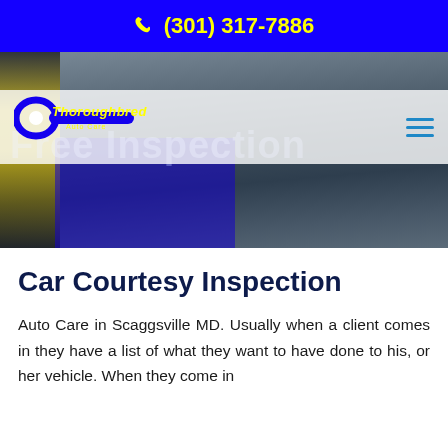(301) 317-7886
[Figure (screenshot): Thoroughbred Auto Care logo with wrench graphic and 'Free Inspection' text overlaid, navigation bar with hamburger menu, auto repair shop background photo]
Car Courtesy Inspection
Auto Care in Scaggsville MD. Usually when a client comes in they have a list of what they want to have done to his, or her vehicle. When they come in